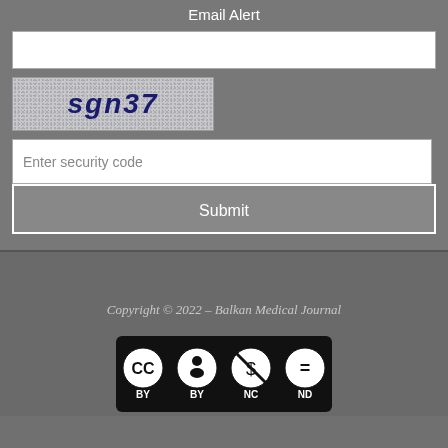Email Alert
[Figure (screenshot): CAPTCHA image showing text 'sgn37' on a noisy speckled background]
Enter security code
Submit
Copyright © 2022 – Balkan Medical Journal
[Figure (logo): Creative Commons CC BY NC ND license badge]